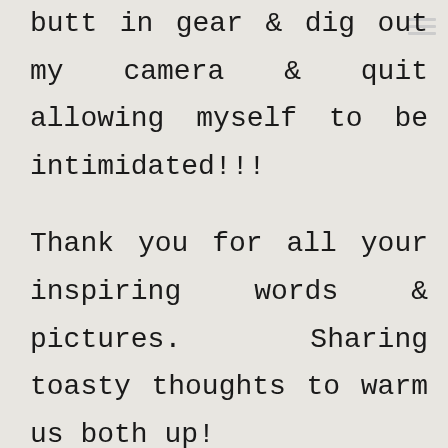butt in gear & dig out my camera & quit allowing myself to be intimidated!!!
Thank you for all your inspiring words & pictures. Sharing toasty thoughts to warm us both up!